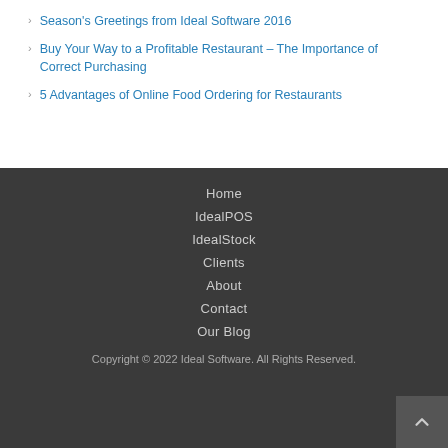Season's Greetings from Ideal Software 2016
Buy Your Way to a Profitable Restaurant – The Importance of Correct Purchasing
5 Advantages of Online Food Ordering for Restaurants
Home
IdealPOS
IdealStock
Clients
About
Contact
Our Blog
Copyright © 2022 Ideal Software. All Rights Reserved.